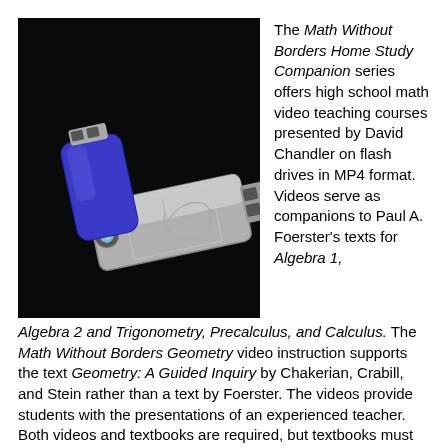[Figure (photo): A blue and silver USB flash drive on a black background, with a geometric design engraved on the metal casing.]
The Math Without Borders Home Study Companion series offers high school math video teaching courses presented by David Chandler on flash drives in MP4 format. Videos serve as companions to Paul A. Foerster's texts for Algebra 1, Algebra 2 and Trigonometry, Precalculus, and Calculus. The Math Without Borders Geometry video instruction supports the text Geometry: A Guided Inquiry by Chakerian, Crabill, and Stein rather than a text by Foerster. The videos provide students with the presentations of an experienced teacher. Both videos and textbooks are required, but textbooks must be purchased separately.